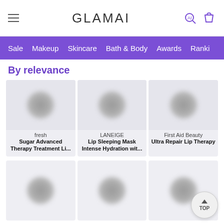GLAMAI
[Figure (screenshot): Navigation bar with purple background showing: Sale, Makeup, Skincare, Bath & Body, Awards, Ranki...]
By relevance
[Figure (photo): Product image placeholder for fresh Sugar Advanced Therapy Treatment Li...]
fresh
Sugar Advanced Therapy Treatment Li...
[Figure (photo): Product image placeholder for LANEIGE Lip Sleeping Mask Intense Hydration wit...]
LANEIGE
Lip Sleeping Mask Intense Hydration wit...
[Figure (photo): Product image placeholder for First Aid Beauty Ultra Repair Lip Therapy]
First Aid Beauty
Ultra Repair Lip Therapy
[Figure (photo): Second row of product image placeholders (3 items, partially visible)]